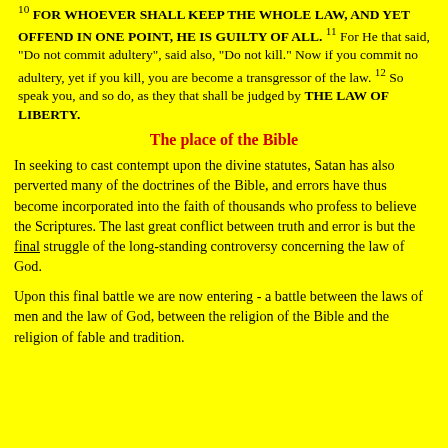10 FOR WHOEVER SHALL KEEP THE WHOLE LAW, AND YET OFFEND IN ONE POINT, HE IS GUILTY OF ALL. 11 For He that said, "Do not commit adultery", said also, "Do not kill." Now if you commit no adultery, yet if you kill, you are become a transgressor of the law. 12 So speak you, and so do, as they that shall be judged by THE LAW OF LIBERTY.
The place of the Bible
In seeking to cast contempt upon the divine statutes, Satan has also perverted many of the doctrines of the Bible, and errors have thus become incorporated into the faith of thousands who profess to believe the Scriptures. The last great conflict between truth and error is but the final struggle of the long-standing controversy concerning the law of God.
Upon this final battle we are now entering - a battle between the laws of men and the law of God, between the religion of the Bible and the religion of fable and tradition.